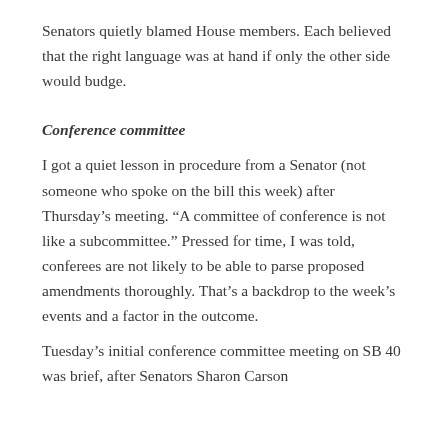Senators quietly blamed House members. Each believed that the right language was at hand if only the other side would budge.
Conference committee
I got a quiet lesson in procedure from a Senator (not someone who spoke on the bill this week) after Thursday’s meeting. “A committee of conference is not like a subcommittee.” Pressed for time, I was told, conferees are not likely to be able to parse proposed amendments thoroughly. That’s a backdrop to the week’s events and a factor in the outcome.
Tuesday’s initial conference committee meeting on SB 40 was brief, after Senators Sharon Carson